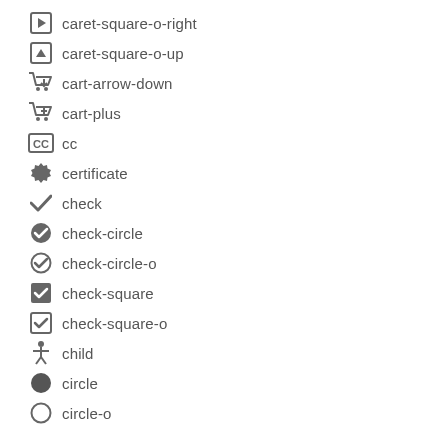caret-square-o-right
caret-square-o-up
cart-arrow-down
cart-plus
cc
certificate
check
check-circle
check-circle-o
check-square
check-square-o
child
circle
circle-o